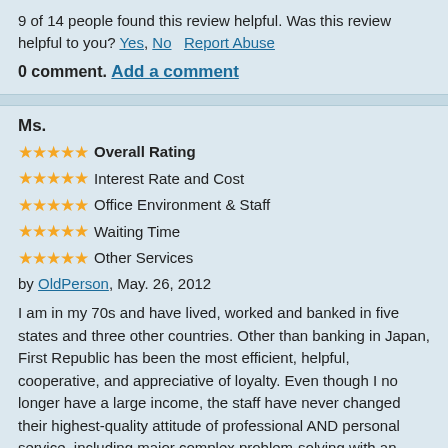9 of 14 people found this review helpful. Was this review helpful to you? Yes, No   Report Abuse
0 comment. Add a comment
Ms.
★★★★★ Overall Rating
★★★★★ Interest Rate and Cost
★★★★★ Office Environment & Staff
★★★★★ Waiting Time
★★★★★ Other Services
by OldPerson, May. 26, 2012
I am in my 70s and have lived, worked and banked in five states and three other countries. Other than banking in Japan, First Republic has been the most efficient, helpful, cooperative, and appreciative of loyalty. Even though I no longer have a large income, the staff have never changed their highest-quality attitude of professional AND personal service, including major complex problem-solving with an identity theft. For the past eight years the Pine Street branch, located in the stuck-up Financial District, has been of great support to the small company I work for, and the Chinatown branch near my home has for the past two